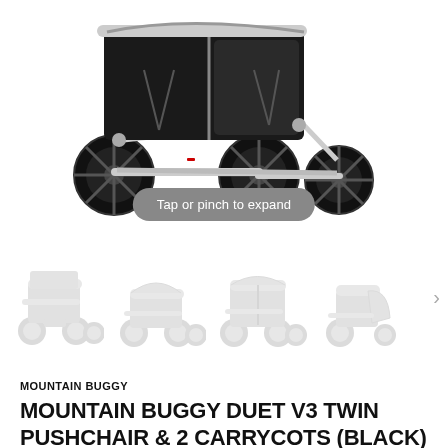[Figure (photo): Close-up photo of a Mountain Buggy Duet V3 twin pushchair from the front/top angle, showing large black pneumatic wheels and black seat fabric with silver/white frame on white background.]
Tap or pinch to expand
[Figure (photo): Row of four thumbnail product images of the Mountain Buggy Duet V3 twin pushchair shown in different configurations (with carrycots, seats, canopies), displayed in light grey/muted tones.]
MOUNTAIN BUGGY
MOUNTAIN BUGGY DUET V3 TWIN PUSHCHAIR & 2 CARRYCOTS (BLACK)